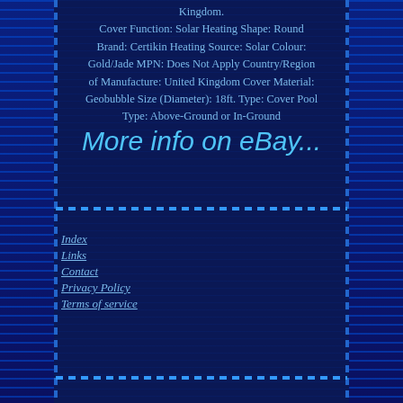Kingdom. Cover Function: Solar Heating Shape: Round Brand: Certikin Heating Source: Solar Colour: Gold/Jade MPN: Does Not Apply Country/Region of Manufacture: United Kingdom Cover Material: Geobubble Size (Diameter): 18ft. Type: Cover Pool Type: Above-Ground or In-Ground
[Figure (other): Italic cursive text link reading 'More info on eBay...' in light blue on dark navy background]
Index
Links
Contact
Privacy Policy
Terms of service